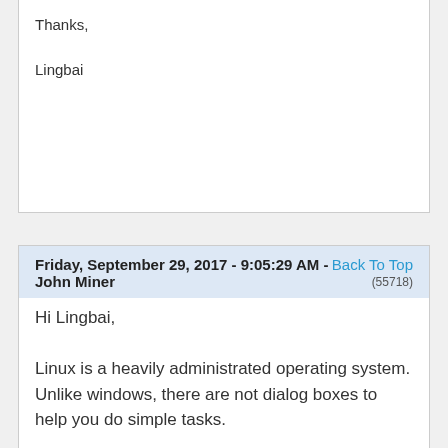Thanks,

Lingbai
Friday, September 29, 2017 - 9:05:29 AM - John Miner
Back To Top
(55718)
Hi Lingbai,
Linux is a heavily administrated operating system.  Unlike windows, there are not dialog boxes to help you do simple tasks.